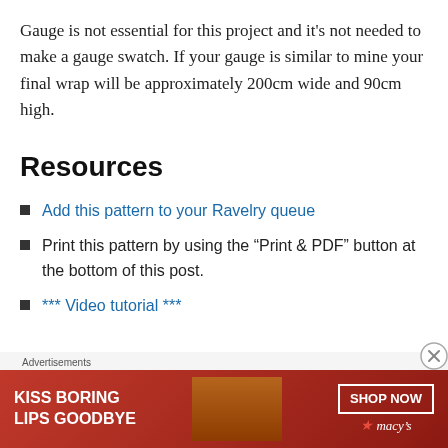Gauge is not essential for this project and it's not needed to make a gauge swatch. If your gauge is similar to mine your final wrap will be approximately 200cm wide and 90cm high.
Resources
Add this pattern to your Ravelry queue
Print this pattern by using the “Print & PDF” button at the bottom of this post.
*** Video tutorial ***
Advertisements
[Figure (other): Advertisement banner for Macy's with red background, text 'KISS BORING LIPS GOODBYE' and 'SHOP NOW' button with Macy's star logo]